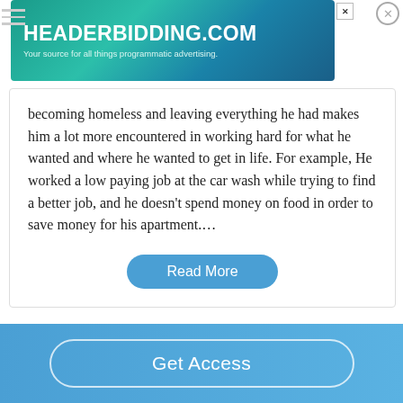[Figure (screenshot): HEADERBIDDING.COM advertisement banner with teal/blue gradient background. Text reads: HEADERBIDDING.COM - Your source for all things programmatic advertising.]
becoming homeless and leaving everything he had makes him a lot more encountered in working hard for what he wanted and where he wanted to get in life. For example, He worked a low paying job at the car wash while trying to find a better job, and he doesn't spend money on food in order to save money for his apartment....
Read More
Satisfactory Essays
Get Access